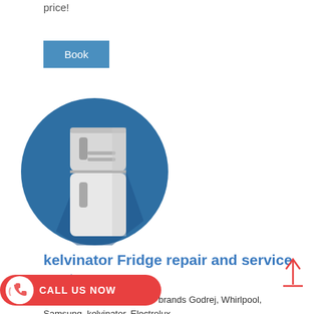price!
Book
[Figure (illustration): Flat icon illustration of a refrigerator centered in a dark blue circle with a shadow effect. The fridge is white/light grey with two compartments and a handle.]
kelvinator Fridge repair and service center
repairing administrations for brands Godrej, Whirlpool, Samsung, kelvinator, Electrolux,
[Figure (infographic): Call Us Now button with phone icon in red rounded pill shape]
[Figure (other): Scroll-to-top arrow icon — upward arrow with a horizontal line below it, in red]